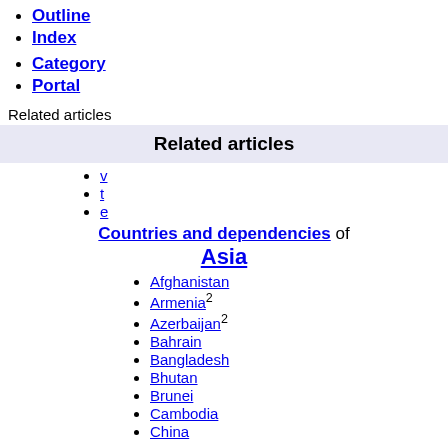Outline
Index
Category
Portal
Related articles
Related articles
v
t
e
Countries and dependencies of Asia
Afghanistan
Armenia2
Azerbaijan2
Bahrain
Bangladesh
Bhutan
Brunei
Cambodia
China